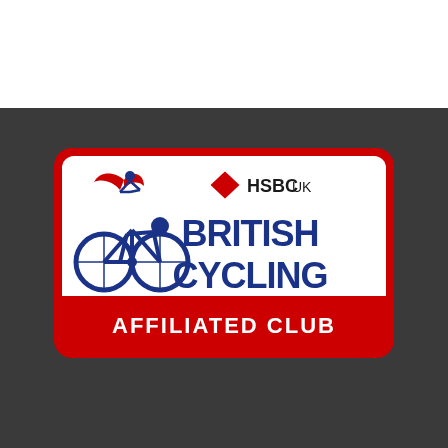[Figure (logo): HSBC UK British Cycling Affiliated Club badge. Red border rounded rectangle on dark background. Left side shows the British Cycling cyclist logo (blue cyclist on bike with red swoosh figure above). Right side shows HSBC UK logo (red hexagons) and 'BRITISH CYCLING' in large bold dark blue text. Bottom red banner reads 'AFFILIATED CLUB' in white bold text.]